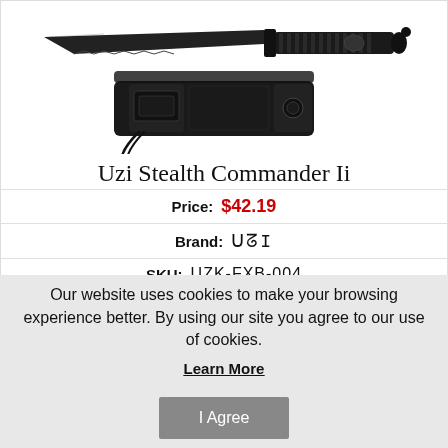[Figure (photo): Product photo of Uzi Stealth Commander Ii knife — two views: blade on top, sheath/holster on bottom, both black against white background]
Uzi Stealth Commander Ii
| Price: | $42.19 |
| Brand: | UZI |
| SKU: | UZK-FXB-004 |
Our website uses cookies to make your browsing experience better. By using our site you agree to our use of cookies.
Learn More
I Agree